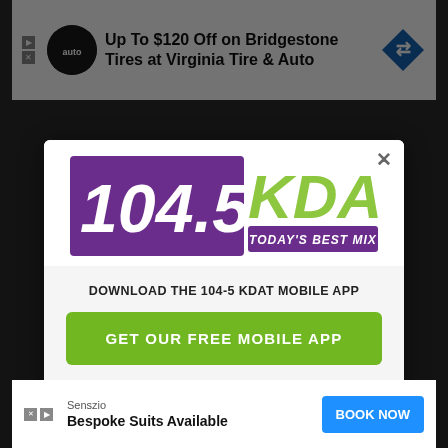[Figure (screenshot): Top advertisement banner: 'Up To $120 Off on Bridgestone Tires at Virginia Tire & Auto' with logo icons]
[Figure (logo): 104.5 KDAT radio station logo with purple background and green text, tagline: TODAY'S BEST MIX]
DOWNLOAD THE 104-5 KDAT MOBILE APP
GET OUR FREE MOBILE APP
Also listen on:  amazon alexa
[Figure (screenshot): Bottom advertisement: Senszio - Bespoke Suits Available with BOOK NOW button]